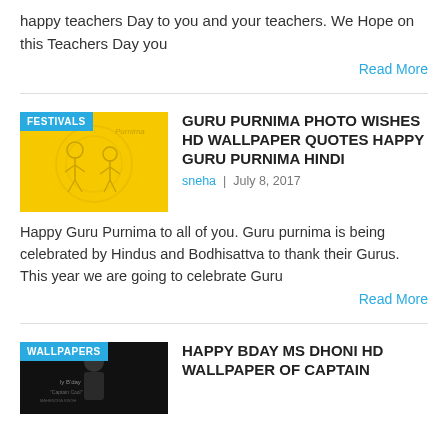happy teachers Day to you and your teachers. We Hope on this Teachers Day you
Read More
[Figure (photo): Guru Purnima thumbnail image with yellow background showing figures, with FESTIVALS badge]
GURU PURNIMA PHOTO WISHES HD WALLPAPER QUOTES HAPPY GURU PURNIMA HINDI
sneha | July 8, 2017
Happy Guru Purnima to all of you. Guru purnima is being celebrated by Hindus and Bodhisattva to thank their Gurus. This year we are going to celebrate Guru
Read More
[Figure (photo): MS Dhoni birthday thumbnail, dark image with person, WALLPAPERS badge]
HAPPY BDAY MS DHONI HD WALLPAPER OF CAPTAIN